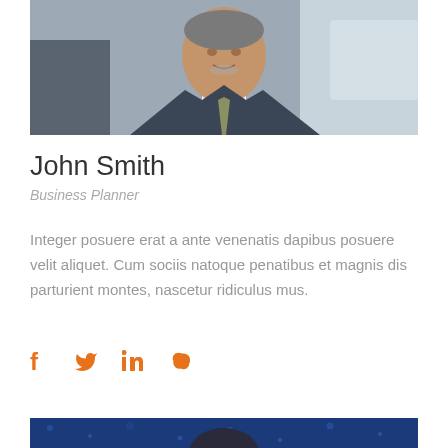[Figure (photo): Professional headshot of a middle-aged man in a dark suit with a light green tie, sitting at a conference table]
John Smith
Business Planner
Integer posuere erat a ante venenatis dapibus posuere velit aliquet. Cum sociis natoque penatibus et magnis dis parturient montes, nascetur ridiculus mus.
[Figure (illustration): Social media icons: Facebook, Twitter, LinkedIn, Skype in orange color]
[Figure (photo): Partial photo of another person against a blue background with decorative dots/bokeh]